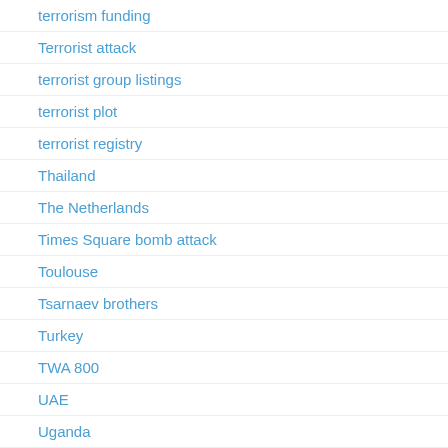terrorism funding
Terrorist attack
terrorist group listings
terrorist plot
terrorist registry
Thailand
The Netherlands
Times Square bomb attack
Toulouse
Tsarnaev brothers
Turkey
TWA 800
UAE
Uganda
Uighurs
Uncategorized
United Kingdom
United Nations
Vancouver Olympics
Vehicle Jihad